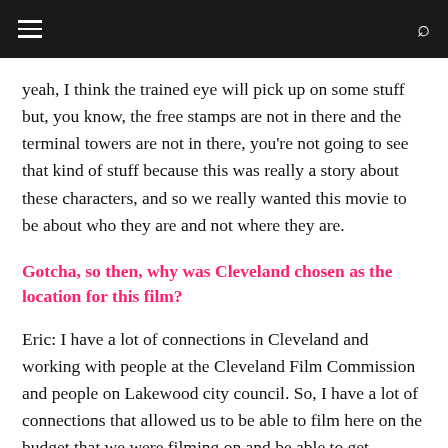navigation bar with hamburger menu and search icon
yeah, I think the trained eye will pick up on some stuff but, you know, the free stamps are not in there and the terminal towers are not in there, you're not going to see that kind of stuff because this was really a story about these characters, and so we really wanted this movie to be about who they are and not where they are.
Gotcha, so then, why was Cleveland chosen as the location for this film?
Eric: I have a lot of connections in Cleveland and working with people at the Cleveland Film Commission and people on Lakewood city council. So, I have a lot of connections that allowed us to be able to film here on the budget that we were filming on and be able to get locations a lot cheaper than I would be able to say in